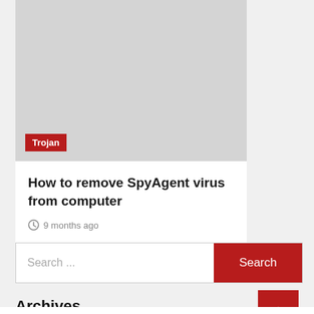[Figure (photo): Gray placeholder image for article thumbnail with a red 'Trojan' tag badge in the lower left corner]
How to remove SpyAgent virus from computer
9 months ago
Search ...
Archives